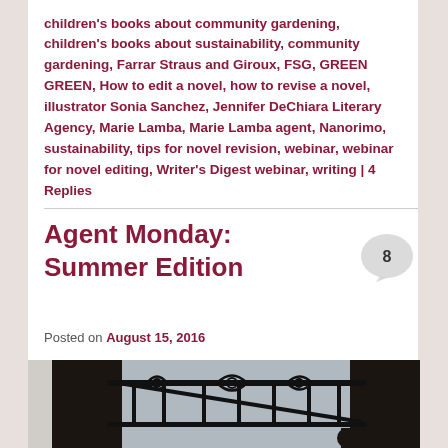children's books about community gardening, children's books about sustainability, community gardening, Farrar Straus and Giroux, FSG, GREEN GREEN, How to edit a novel, how to revise a novel, illustrator Sonia Sanchez, Jennifer DeChiara Literary Agency, Marie Lamba, Marie Lamba agent, Nanorimo, sustainability, tips for novel revision, webinar, webinar for novel editing, Writer's Digest webinar, writing | 4 Replies
Agent Monday: Summer Edition
Posted on August 15, 2016
[Figure (photo): Dark photograph of a decorative wrought iron gate with spiral/curl designs against a light sky background, with dark building structures visible]